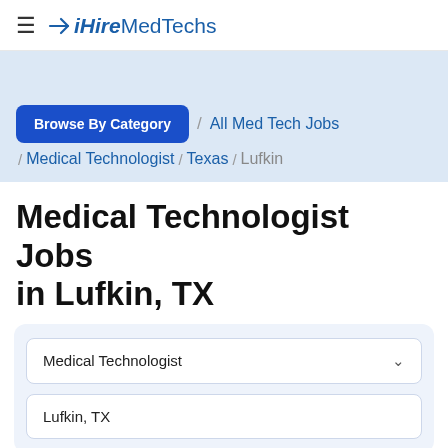≡ iHireMedTechs
[Figure (screenshot): Light blue spacer band below the header navigation]
Browse By Category / All Med Tech Jobs / Medical Technologist / Texas / Lufkin
Medical Technologist Jobs in Lufkin, TX
Medical Technologist (dropdown)
Lufkin, TX (text field)